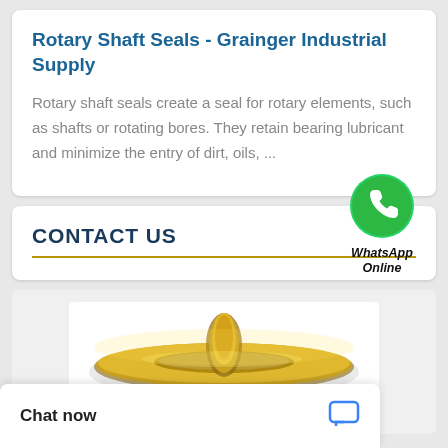Rotary Shaft Seals - Grainger Industrial Supply
Rotary shaft seals create a seal for rotary elements, such as shafts or rotating bores. They retain bearing lubricant and minimize the entry of dirt, oils, ...
[Figure (logo): WhatsApp green phone bubble icon with label 'WhatsApp Online']
CONTACT US
[Figure (photo): Gold/bronze colored rotary shaft seal ring shown in 3D perspective on white background]
Chat now